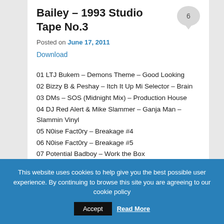Bailey – 1993 Studio Tape No.3
Posted on June 17, 2011
Download
01 LTJ Bukem – Demons Theme – Good Looking
02 Bizzy B & Peshay – Itch It Up Mi Selector – Brain
03 DMs – SOS (Midnight Mix) – Production House
04 DJ Red Alert & Mike Slammer – Ganja Man – Slammin Vinyl
05 N0ise Fact0ry – Breakage #4
06 N0ise Fact0ry – Breakage #5
07 Potential Badboy – Work the Box
08 Static Substance – Ghetto People – Impact Records
This website uses cookies to help give you the best possible user experience. By continuing to browse this site you are agreeing to our cookie policy Accept Read More